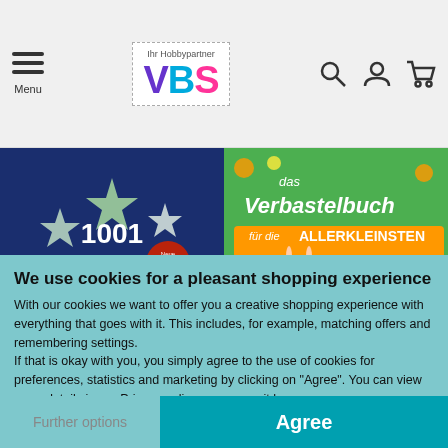VBS - Ihr Hobbypartner
[Figure (photo): Book cover: 1001 Neue Weihnachtssterne - dark blue background with origami paper stars]
[Figure (photo): Book cover: Das Verbastelbuch für die Allerkleinsten - Schneiden und Kleben Ostern - green background with cartoon bunny and scissors]
We use cookies for a pleasant shopping experience
With our cookies we want to offer you a creative shopping experience with everything that goes with it. This includes, for example, matching offers and remembering settings.
If that is okay with you, you simply agree to the use of cookies for preferences, statistics and marketing by clicking on "Agree". You can view more details in our Privacy policy or manage it here.
Further options
Agree